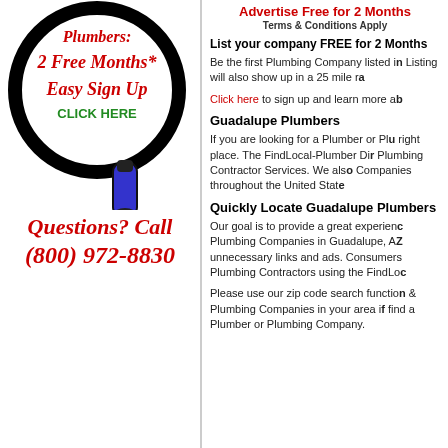[Figure (illustration): Magnifying glass with text inside: '2 Free Months* Easy Sign Up CLICK HERE']
Questions? Call
(800) 972-8830
Advertise Free for 2 Months
Terms & Conditions Apply
List your company FREE for 2 Months
Be the first Plumbing Company listed in... Listing will also show up in a 25 mile ra...
Click here to sign up and learn more a...
Guadalupe Plumbers
If you are looking for a Plumber or Plu... right place. The FindLocal-Plumber Di... Plumbing Contractor Services. We als... Companies throughout the United Stat...
Quickly Locate Guadalupe Plumbers
Our goal is to provide a great experien... Plumbing Companies in Guadalupe, A... unnecessary links and ads. Consumers Plumbing Contractors using the FindLo...
Please use our zip code search functio... & Plumbing Companies in your area if find a Plumber or Plumbing Company.